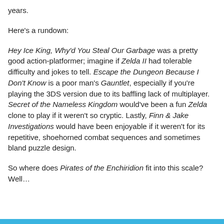years.
Here's a rundown:
Hey Ice King, Why'd You Steal Our Garbage was a pretty good action-platformer; imagine if Zelda II had tolerable difficulty and jokes to tell. Escape the Dungeon Because I Don't Know is a poor man's Gauntlet, especially if you're playing the 3DS version due to its baffling lack of multiplayer. Secret of the Nameless Kingdom would've been a fun Zelda clone to play if it weren't so cryptic. Lastly, Finn & Jake Investigations would have been enjoyable if it weren't for its repetitive, shoehorned combat sequences and sometimes bland puzzle design.
So where does Pirates of the Enchiridion fit into this scale? Well…
[Figure (other): Blue decorative bar at bottom of page]